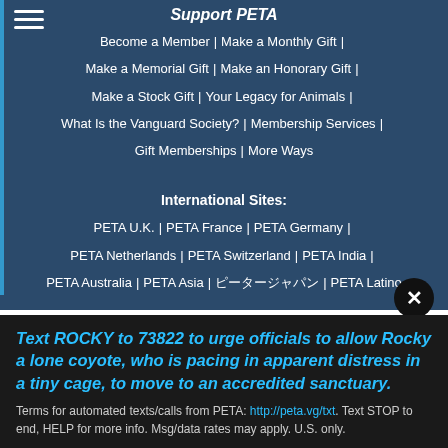Support PETA
Become a Member | Make a Monthly Gift | Make a Memorial Gift | Make an Honorary Gift | Make a Stock Gift | Your Legacy for Animals | What Is the Vanguard Society? | Membership Services | Gift Memberships | More Ways
International Sites:
PETA U.K. | PETA France | PETA Germany | PETA Netherlands | PETA Switzerland | PETA India | PETA Australia | PETA Asia | ピータージャパン | PETA Latino
Text ROCKY to 73822 to urge officials to allow Rocky a lone coyote, who is pacing in apparent distress in a tiny cage, to move to an accredited sanctuary.
Terms for automated texts/calls from PETA: http://peta.vg/txt. Text STOP to end, HELP for more info. Msg/data rates may apply. U.S. only.